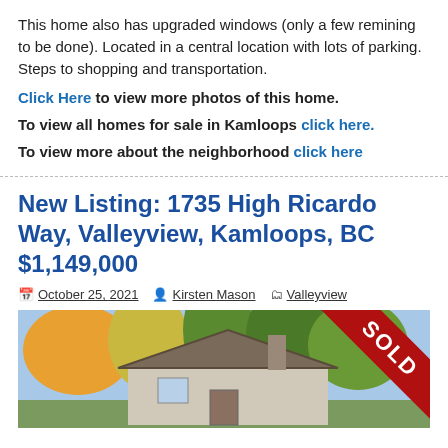This home also has upgraded windows (only a few remining to be done). Located in a central location with lots of parking. Steps to shopping and transportation.
Click Here to view more photos of this home.
To view all homes for sale in Kamloops click here.
To view more about the neighborhood click here
New Listing: 1735 High Ricardo Way, Valleyview, Kamloops, BC $1,149,000
October 25, 2021  Kirsten Mason  Valleyview
[Figure (photo): Exterior photo of a house with trees and a large red SOLD diagonal banner in the upper right corner.]